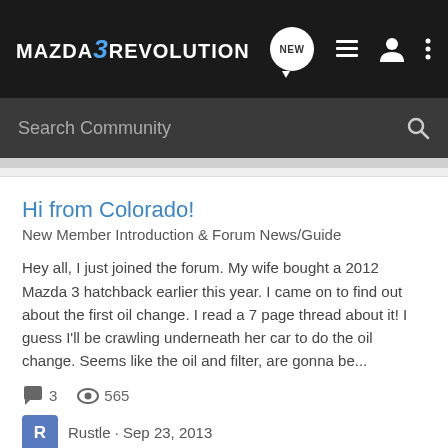MAZDA 3 REVOLUTION — navigation bar with NEW, list, user, and menu icons
Search Community
Hi from Colorado!
New Member Introduction & Forum News/Guide
Hey all, I just joined the forum. My wife bought a 2012 Mazda 3 hatchback earlier this year. I came on to find out about the first oil change. I read a 7 page thread about it! I guess I'll be crawling underneath her car to do the oil change. Seems like the oil and filter, are gonna be...
3   565
Rustle · Sep 23, 2013
colorado